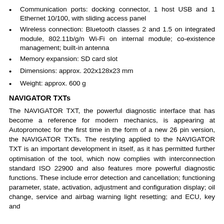Communication ports: docking connector, 1 host USB and 1 Ethernet 10/100, with sliding access panel
Wireless connection: Bluetooth classes 2 and 1.5 on integrated module, 802.11b/g/n Wi-Fi on internal module; co-existence management; built-in antenna
Memory expansion: SD card slot
Dimensions: approx. 202x128x23 mm
Weight: approx. 600 g
NAVIGATOR TXTs
The NAVIGATOR TXT, the powerful diagnostic interface that has become a reference for modern mechanics, is appearing at Autopromotec for the first time in the form of a new 26 pin version, the NAVIGATOR TXTs. The restyling applied to the NAVIGATOR TXT is an important development in itself, as it has permitted further optimisation of the tool, which now complies with interconnection standard ISO 22900 and also features more powerful diagnostic functions. These include error detection and cancellation; functioning parameter, state, activation, adjustment and configuration display; oil change, service and airbag warning light resetting; and ECU, key and